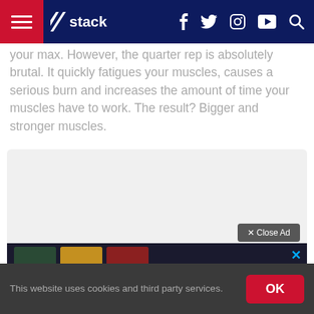stack — navigation bar with hamburger menu, logo, social icons (f, twitter, instagram, youtube) and search
your max. However, the quarter rep is absolutely brutal. It quickly fatigues your muscles, causes a serious burn and increases the amount of time your muscles have to work. The result? Bigger and stronger muscles.
[Figure (screenshot): Advertisement placeholder box with 'x Close Ad' button and a banner at the bottom showing sports thumbnail images]
This website uses cookies and third party services.